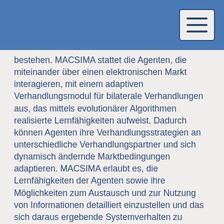bestehen. MACSIMA stattet die Agenten, die miteinander über einen elektronischen Markt interagieren, mit einem adaptiven Verhandlungsmodul für bilaterale Verhandlungen aus, das mittels evolutionärer Algorithmen realisierte Lernfähigkeiten aufweist. Dadurch können Agenten ihre Verhandlungsstrategien an unterschiedliche Verhandlungspartner und sich dynamisch ändernde Marktbedingungen adaptieren. MACSIMA erlaubt es, die Lernfähigkeiten der Agenten sowie ihre Möglichkeiten zum Austausch und zur Nutzung von Informationen detailliert einzustellen und das sich daraus ergebende Systemverhalten zu simulieren und zu evaluieren. MACSIMA erweitert bekannte Ansätze um neue Konzepte, Methoden und Einstellmöglichkeiten. Simulationsergebnisse werden auf einer Makro-, Meso- und Mikroebene gemessen, mit Hilfe einer